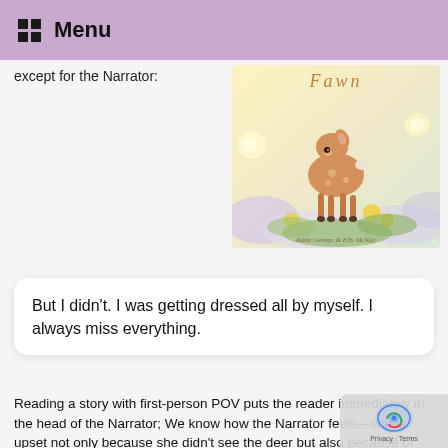Menu
except for the Narrator:
[Figure (illustration): Book cover showing a fawn (baby deer) with flowers, title text 'Fawn' in cursive, authors Katie George & Elly McKay]
But I didn't. I was getting dressed all by myself. I always miss everything.
Reading a story with first-person POV puts the reader immediately in the head of the Narrator; We know how the Narrator feels—she is upset not only because she didn't see the deer but also because of missing everything! Always!